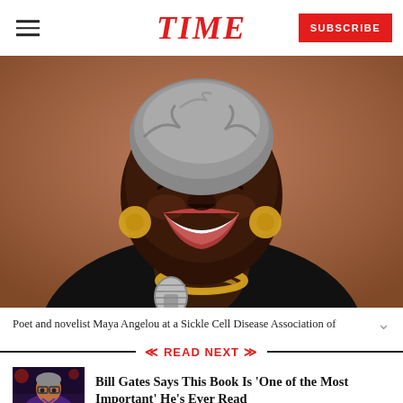TIME
[Figure (photo): Poet and novelist Maya Angelou laughing joyfully, holding a microphone, wearing a black top and gold necklace, at a Sickle Cell Disease Association of America event.]
Poet and novelist Maya Angelou at a Sickle Cell Disease Association of
READ NEXT
[Figure (photo): Thumbnail photo of Bill Gates wearing glasses and a purple sweater.]
Bill Gates Says This Book Is 'One of the Most Important' He's Ever Read